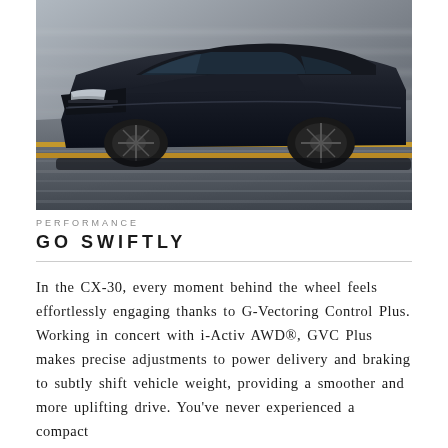[Figure (photo): A dark-colored Mazda CX-30 SUV photographed in motion from a low angle, driving on a wet road with motion blur in the background suggesting speed. The vehicle appears nearly black against a blurred grey road surface.]
PERFORMANCE
GO SWIFTLY
In the CX-30, every moment behind the wheel feels effortlessly engaging thanks to G-Vectoring Control Plus. Working in concert with i-Activ AWD®, GVC Plus makes precise adjustments to power delivery and braking to subtly shift vehicle weight, providing a smoother and more uplifting drive. You've never experienced a compact